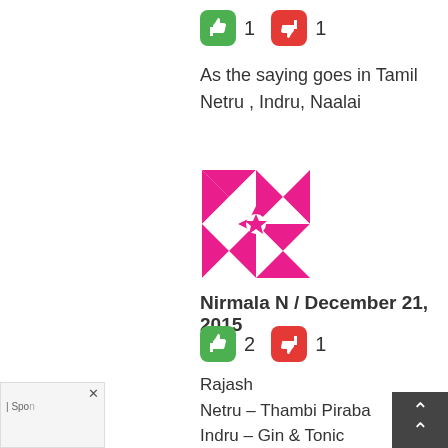[Figure (infographic): Thumbs up (green) icon with count 1, thumbs down (red) icon with count 1]
As the saying goes in Tamil
Netru , Indru, Naalai
[Figure (illustration): Pink and white decorative geometric avatar image with star/diamond pattern]
Nirmala N / December 21, 2015
[Figure (infographic): Thumbs up (green) icon with count 2, thumbs down (red) icon with count 1]
Rajash
Netru – Thambi Piraba
Indru – Gin & Tonic
Naalai – Mahinda Chinthanaya in full force.
I love you my darling.